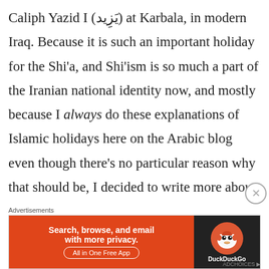Caliph Yazid I (يَزِيد) at Karbala, in modern Iraq. Because it is such an important holiday for the Shi'a, and Shi'ism is so much a part of the Iranian national identity now, and mostly because I always do these explanations of Islamic holidays here on the Arabic blog even though there's no particular reason why that should be, I decided to write more about Ashura at my Persian blog. If you're interested, please go
[Figure (other): DuckDuckGo advertisement banner: orange left section with text 'Search, browse, and email with more privacy. All in One Free App' and dark right section with DuckDuckGo duck logo]